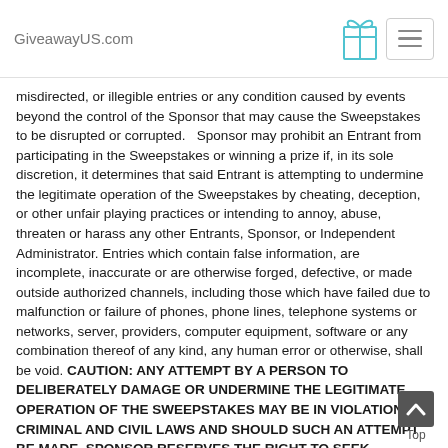GiveawayUS.com
misdirected, or illegible entries or any condition caused by events beyond the control of the Sponsor that may cause the Sweepstakes to be disrupted or corrupted.   Sponsor may prohibit an Entrant from participating in the Sweepstakes or winning a prize if, in its sole discretion, it determines that said Entrant is attempting to undermine the legitimate operation of the Sweepstakes by cheating, deception, or other unfair playing practices or intending to annoy, abuse, threaten or harass any other Entrants, Sponsor, or Independent Administrator. Entries which contain false information, are incomplete, inaccurate or are otherwise forged, defective, or made outside authorized channels, including those which have failed due to malfunction or failure of phones, phone lines, telephone systems or networks, server, providers, computer equipment, software or any combination thereof of any kind, any human error or otherwise, shall be void. CAUTION: ANY ATTEMPT BY A PERSON TO DELIBERATELY DAMAGE OR UNDERMINE THE LEGITIMATE OPERATION OF THE SWEEPSTAKES MAY BE IN VIOLATION OF CRIMINAL AND CIVIL LAWS AND SHOULD SUCH AN ATTEMPT BE MADE, SPONSOR RESERVES THE RIGHT TO SEEK REMEDIES AND DAMAGES (INCLUDING ATTORNEY'S FEES) FROM ANY SUCH PERSON TO THE FULLEST EXTENT OF THE LAW, INCLUDING CRIMINAL PROSECUTION.